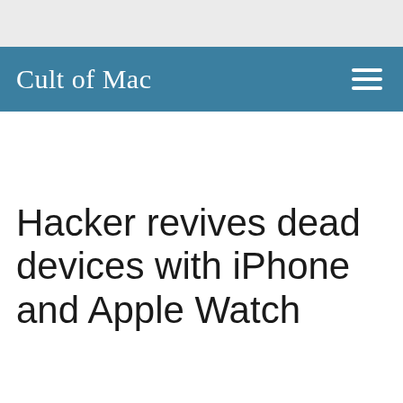Cult of Mac
Hacker revives dead devices with iPhone and Apple Watch